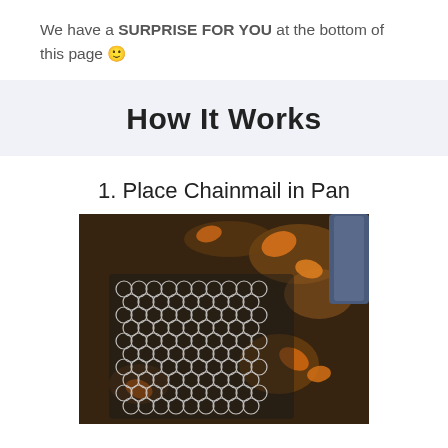We have a SURPRISE FOR YOU at the bottom of this page 🙂
How It Works
1. Place Chainmail in Pan
[Figure (photo): A black cast iron pan with chainmail scrubber placed on it, surrounded by rusty areas and orange autumn leaves debris]